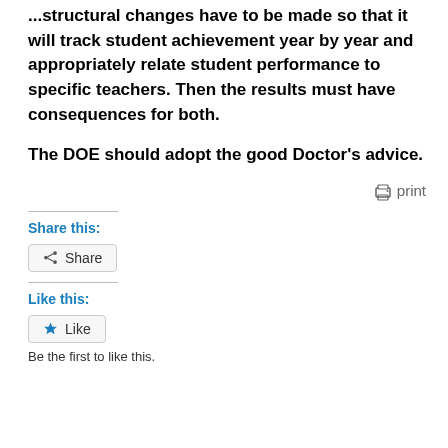...structural changes have to be made so that it will track student achievement year by year and appropriately relate student performance to specific teachers. Then the results must have consequences for both.
The DOE should adopt the good Doctor’s advice.
print
Share this:
Share
Like this:
Like
Be the first to like this.